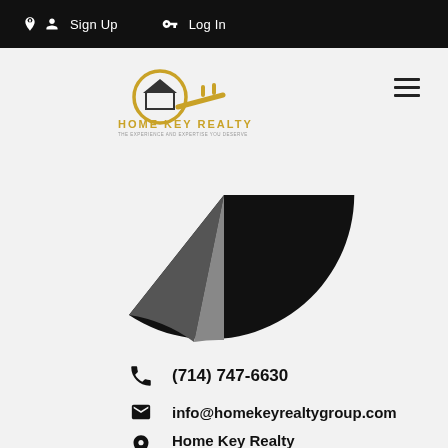Sign Up  Log In
[Figure (logo): Home Key Realty logo with gold key icon and company name]
[Figure (pie-chart): Partial pie chart visible at top — black and dark gray segments, bottom half cropped]
(714) 747-6630
info@homekeyrealtygroup.com
Home Key Realty
155 North Riverview Drive #300
Anaheim, CA 92808